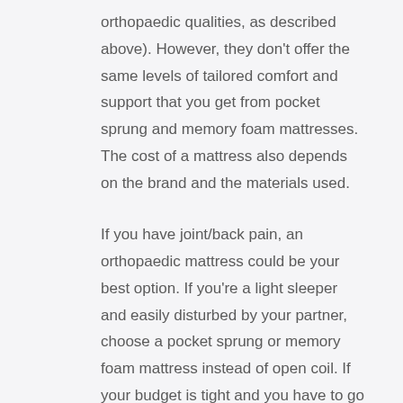orthopaedic qualities, as described above). However, they don't offer the same levels of tailored comfort and support that you get from pocket sprung and memory foam mattresses. The cost of a mattress also depends on the brand and the materials used.
If you have joint/back pain, an orthopaedic mattress could be your best option. If you're a light sleeper and easily disturbed by your partner, choose a pocket sprung or memory foam mattress instead of open coil. If your budget is tight and you have to go for open coil, consider a larger mattress—king or super king size—so that there is ample room for both of you. If you have allergies, consider memory foam,